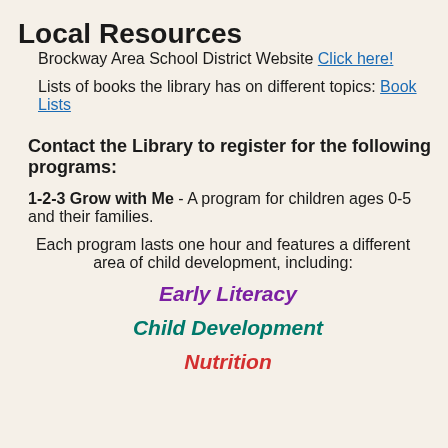Local Resources
Brockway Area School District Website Click here!
Lists of books the library has on different topics: Book Lists
Contact the Library to register for the following programs:
1-2-3 Grow with Me - A program for children ages 0-5 and their families.
Each program lasts one hour and features a different area of child development, including:
Early Literacy
Child Development
Nutrition